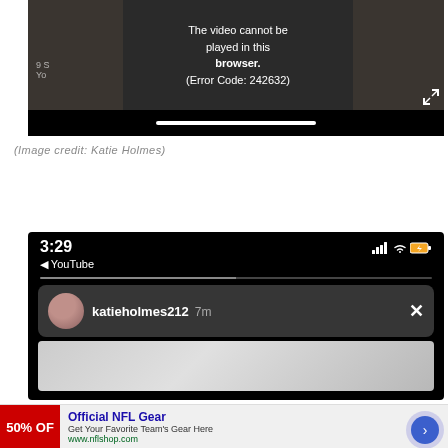[Figure (screenshot): Video player showing error message: 'The video cannot be played in this browser. (Error Code: 242632)' with dark background and progress bar]
(Image credit: Katie Holmes)
[Figure (screenshot): Mobile phone screenshot showing YouTube app at 3:29, with katieholmes212 notification from 7 minutes ago and a blurred preview thumbnail]
[Figure (other): Advertisement for Official NFL Gear - Get Your Favorite Team's Gear Here - www.nflshop.com with 50% OFF red banner]